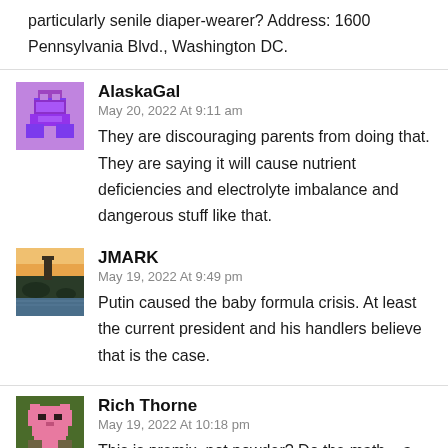particularly senile diaper-wearer? Address: 1600 Pennsylvania Blvd., Washington DC.
AlaskaGal
May 20, 2022 At 9:11 am
They are discouraging parents from doing that. They are saying it will cause nutrient deficiencies and electrolyte imbalance and dangerous stuff like that.
JMARK
May 19, 2022 At 9:49 pm
Putin caused the baby formula crisis. At least the current president and his handlers believe that is the case.
Rich Thorne
May 19, 2022 At 10:18 pm
This is premix, not powder? Do the math – a pallet